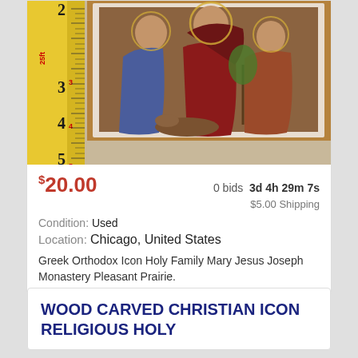[Figure (photo): Photo of a Greek Orthodox religious icon showing Mary, Jesus, and Joseph with saints, with a yellow measuring tape/ruler along the left side showing inches up to about 5 inches.]
$20.00   0 bids  3d 4h 29m 7s   $5.00 Shipping
Condition: Used
Location: Chicago, United States
Greek Orthodox Icon Holy Family Mary Jesus Joseph Monastery Pleasant Prairie.
WOOD CARVED CHRISTIAN ICON RELIGIOUS HOLY